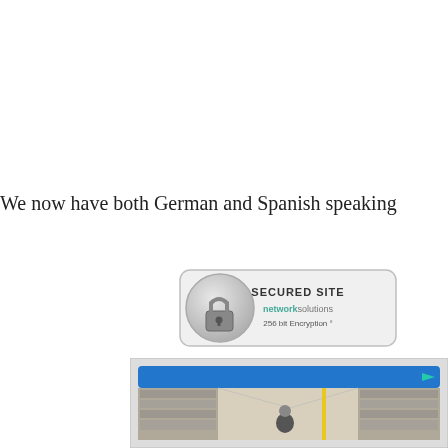We now have both German and Spanish speaking
[Figure (other): Network Solutions Secured Site badge with padlock icon and '256 bit Encryption' text]
[Figure (photo): Advertisement image showing a warehouse/store aisle with shelves full of products and a person working, with a blue header bar and a play button icon]